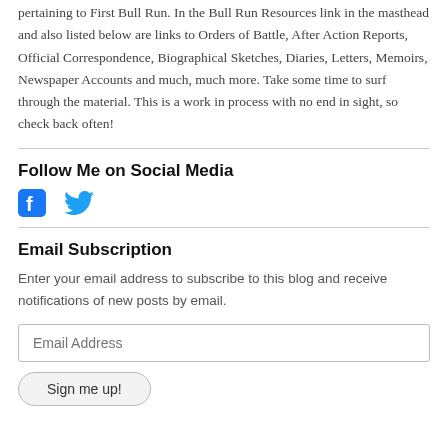pertaining to First Bull Run. In the Bull Run Resources link in the masthead and also listed below are links to Orders of Battle, After Action Reports, Official Correspondence, Biographical Sketches, Diaries, Letters, Memoirs, Newspaper Accounts and much, much more. Take some time to surf through the material. This is a work in process with no end in sight, so check back often!
Follow Me on Social Media
[Figure (illustration): Facebook and Twitter social media icons in blue]
Email Subscription
Enter your email address to subscribe to this blog and receive notifications of new posts by email.
Email Address
Sign me up!